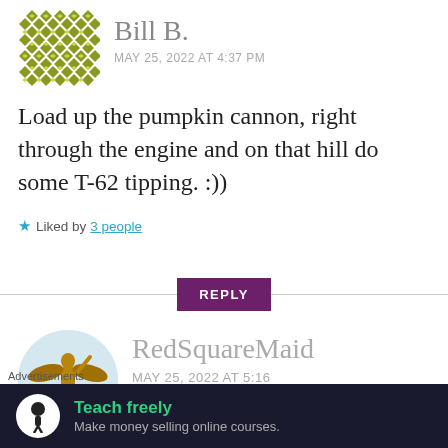[Figure (illustration): User avatar for Bill B. - a geometric pattern icon in yellow/olive color with diamond and cross shapes]
Bill B.
MAY 25, 2022 AT 4:37 PM
Load up the pumpkin cannon, right through the engine and on that hill do some T-62 tipping. :))
★ Liked by 3 people
REPLY
[Figure (photo): User avatar for RedSquareMaid - a bronze/gold statuette of a winged warrior figure on a light blue circular background]
RedSquareMaid
MAY 25, 2022 AT 5:16 PM
Advertisements
[Figure (other): Advertisement banner with dark background: logo circle with tree/person icon, headline 'Teach freely', subtext 'Make money selling online courses.']